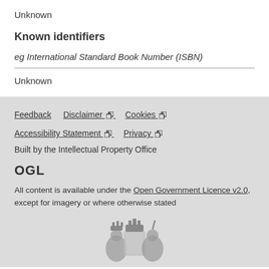Unknown
Known identifiers
eg International Standard Book Number (ISBN)
Unknown
Feedback  Disclaimer  Cookies  Accessibility Statement  Privacy  Built by the Intellectual Property Office  OGL  All content is available under the Open Government Licence v2.0, except for imagery or where otherwise stated